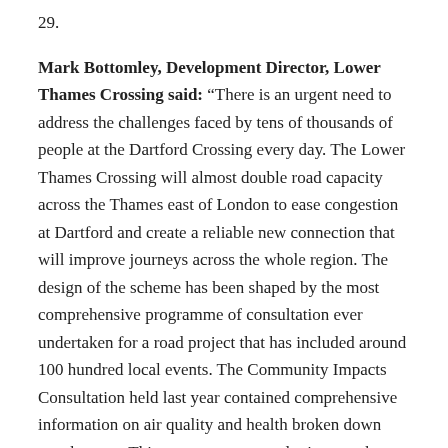29.
Mark Bottomley, Development Director, Lower Thames Crossing said: “There is an urgent need to address the challenges faced by tens of thousands of people at the Dartford Crossing every day. The Lower Thames Crossing will almost double road capacity across the Thames east of London to ease congestion at Dartford and create a reliable new connection that will improve journeys across the whole region. The design of the scheme has been shaped by the most comprehensive programme of consultation ever undertaken for a road project that has included around 100 hundred local events. The Community Impacts Consultation held last year contained comprehensive information on air quality and health broken down area by area. This most recent consultation sought feedback on a number of localised changes. Our assessment work is ongoing and will be fully presented in our application for Development Consent Order later this year.”